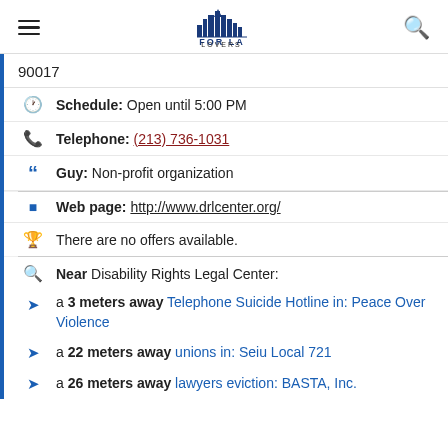FOR LA LOVERS
90017
Schedule: Open until 5:00 PM
Telephone: (213) 736-1031
Guy: Non-profit organization
Web page: http://www.drlcenter.org/
There are no offers available.
Near Disability Rights Legal Center:
a 3 meters away Telephone Suicide Hotline in: Peace Over Violence
a 22 meters away unions in: Seiu Local 721
a 26 meters away lawyers eviction: BASTA, Inc.